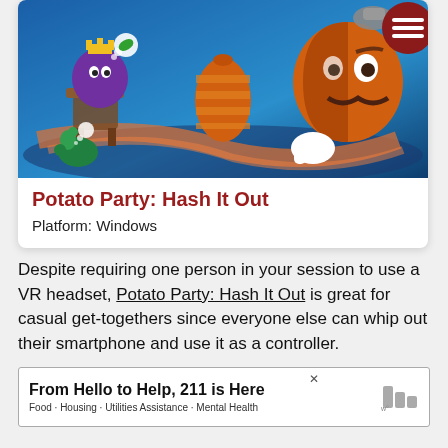[Figure (illustration): Colorful cartoon illustration showing animated vegetable/food characters in a fantasy party scene with purple and orange characters, on a blue background]
Potato Party: Hash It Out
Platform: Windows
Despite requiring one person in your session to use a VR headset, Potato Party: Hash It Out is great for casual get-togethers since everyone else can whip out their smartphone and use it as a controller.
[Figure (screenshot): Advertisement banner: From Hello to Help, 211 is Here. Food · Housing · Utilities Assistance · Mental Health]